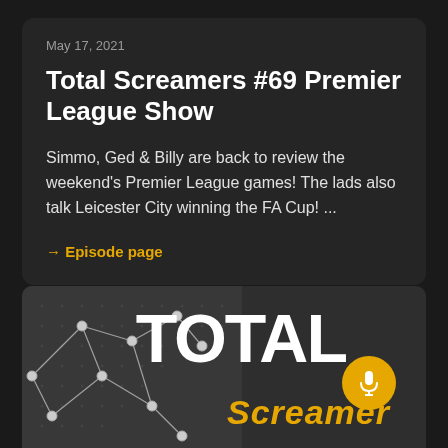May 17, 2021
Total Screamers #69 Premier League Show
Simmo, Ged & Billy are back to review the weekend's Premier League games! The lads also talk Leicester City winning the FA Cup! ...
→ Episode page
[Figure (illustration): Podcast cover image showing a network graph on the left and the text TOTAL in large white letters with Screamers in gold italic below, plus a gold microphone badge circle on the right]